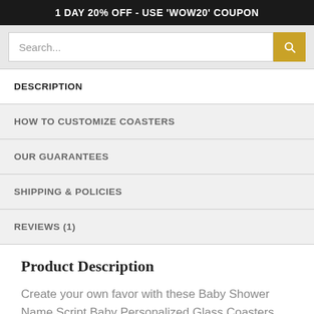1 DAY 20% OFF - USE 'WOW20' COUPON
Search...
DESCRIPTION
HOW TO CUSTOMIZE COASTERS
OUR GUARANTEES
SHIPPING & POLICIES
REVIEWS (1)
Product Description
Create your own favor with these Baby Shower Name Script Baby Personalized Glass Coasters. There's nothing quite like personalized favors